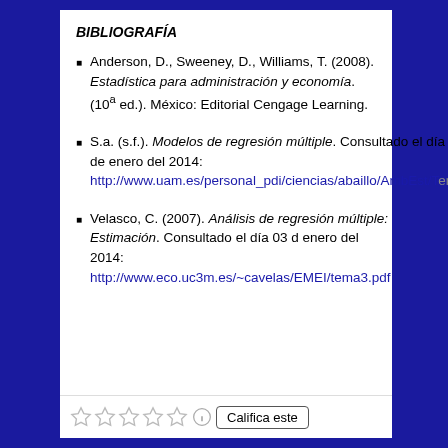BIBLIOGRAFÍA
Anderson, D., Sweeney, D., Williams, T. (2008). Estadística para administración y economía. (10ª ed.). México: Editorial Cengage Learning.
S.a. (s.f.). Modelos de regresión múltiple. Consultado el día 03 de enero del 2014: http://www.uam.es/personal_pdi/ciencias/abaillo/AmbEst/Tema...
Velasco, C. (2007). Análisis de regresión múltiple: Estimación. Consultado el día 03 d enero del 2014: http://www.eco.uc3m.es/~cavelas/EMEI/tema3.pdf
★★★★★ ⓘ Califica este